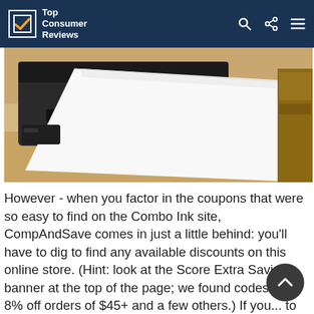Top Consumer Reviews
[Figure (photo): A black printer with white paper being fed through it, sitting on a light wood desk surface]
However - when you factor in the coupons that were so easy to find on the Combo Ink site, CompAndSave comes in just a little behind: you'll have to dig to find any available discounts on this online store. (Hint: look at the Score Extra Savings banner at the top of the page; we found codes f... 8% off orders of $45+ and a few others.) If you... to score similar savings to the Combo Ink page, look